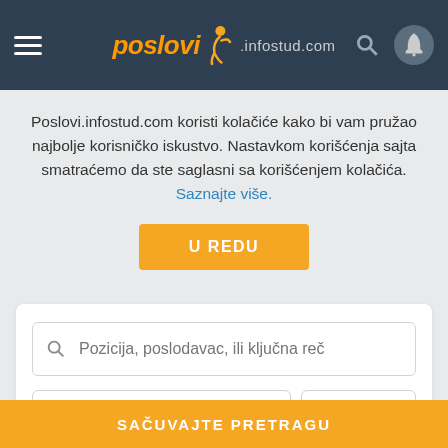[Figure (screenshot): Poslovi.infostud.com website header with hamburger menu, logo, search icon, and notification bell icon on dark blue background]
Poslovi.infostud.com koristi kolačiće kako bi vam pružao najbolje korisničko iskustvo. Nastavkom korišćenja sajta smatraćemo da ste saglasni sa korišćenjem kolačića. Saznajte više.
U REDU
Pozicija, poslodavac, ili ključna reč
Čajetina (231)
+ 0 km
PRETRAŽITE
SAČUVAJTE PRETRAGU